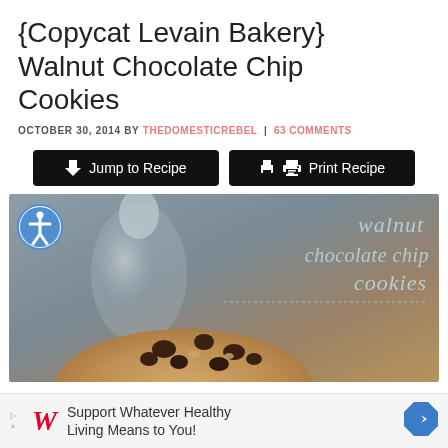{Copycat Levain Bakery} Walnut Chocolate Chip Cookies
OCTOBER 30, 2014 BY THEDOMESTICREBEL | 63 COMMENTS
[Figure (other): Two black buttons: 'Jump to Recipe' with download arrow icon, and 'Print Recipe' with printer icon]
[Figure (photo): Photo of a large walnut chocolate chip cookie with text overlay reading 'walnut chocolate chip cookies' in cursive light blue font, with blurred milk bottle in background. Accessibility icon visible in top left corner.]
Support Whatever Healthy Living Means to You!